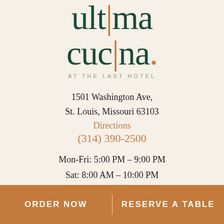ultima cucina. AT THE LAST HOTEL
1501 Washington Ave,
St. Louis, Missouri 63103
Directions
(314) 390-2500
Mon-Fri: 5:00 PM – 9:00 PM
Sat: 8:00 AM – 10:00 PM
Sun: 8:00 AM – 9:00 PM
ORDER NOW   |   RESERVE A TABLE